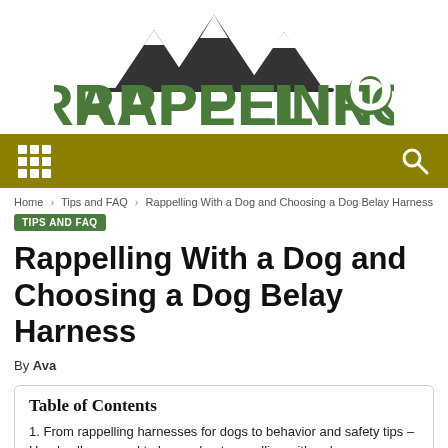[Figure (logo): RappelInfo logo with mountain silhouette above green distressed text 'RAPPELINFO' with a magnifying glass icon replacing the letter O]
Navigation bar with grid menu icon and search icon
Home › Tips and FAQ › Rappelling With a Dog and Choosing a Dog Belay Harness
TIPS AND FAQ
Rappelling With a Dog and Choosing a Dog Belay Harness
By Ava
Table of Contents
1. From rappelling harnesses for dogs to behavior and safety tips – Here's all you need to know about rappelling with a dog.
2. The dog rappelling harness – your most important piece of gear.